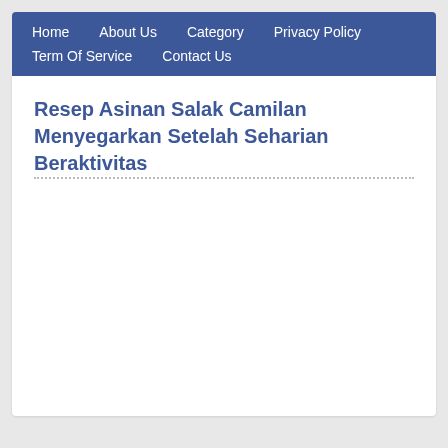Home  About Us  Category  Privacy Policy  Term Of Service  Contact Us
Resep Asinan Salak Camilan Menyegarkan Setelah Seharian Beraktivitas